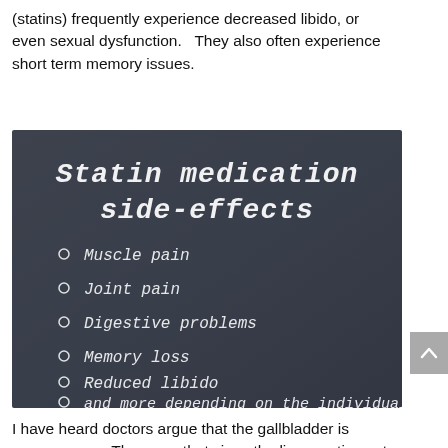(statins) frequently experience decreased libido, or even sexual dysfunction.   They also often experience short term memory issues.
[Figure (infographic): Chalkboard-style image listing 'Statin medication side-effects' with bullet points: Muscle pain, Joint pain, Digestive problems, Memory loss, Reduced libido, and more depending on the individual]
I have heard doctors argue that the gallbladder is unnecessary.  They  say that since the liver continues to make bile, then fat absorption continues.   I disagree with this.  First, I don't believe we were designed with unnecessary parts.  We may not